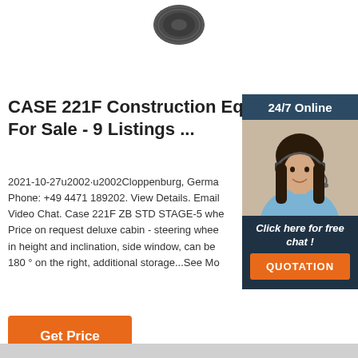[Figure (photo): Partial view of a dark rubber tire/wheel product image at top of page]
CASE 221F Construction Equ For Sale - 9 Listings ...
2021-10-27u2002·u2002Cloppenburg, Germa Phone: +49 4471 189202. View Details. Email Video Chat. Case 221F ZB STD STAGE-5 whe Price on request deluxe cabin - steering whee in height and inclination, side window, can be 180 ° on the right, additional storage...See Mo
[Figure (photo): Chat widget with woman wearing a headset, 24/7 Online badge, and QUOTATION button]
Get Price